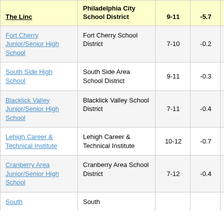| The Linc | Philadelphia City School District | 9-11 | -5.7 |  |
| --- | --- | --- | --- | --- |
| Fort Cherry Junior/Senior High School | Fort Cherry School District | 7-10 | -0.2 |  |
| South Side High School | South Side Area School District | 9-11 | -0.3 |  |
| Blacklick Valley Junior/Senior High School | Blacklick Valley School District | 7-11 | -0.4 |  |
| Lehigh Career & Technical Institute | Lehigh Career & Technical Institute | 10-12 | -0.7 |  |
| Cranberry Area Junior/Senior High School | Cranberry Area School District | 7-12 | -0.4 |  |
| South... | South... |  |  |  |